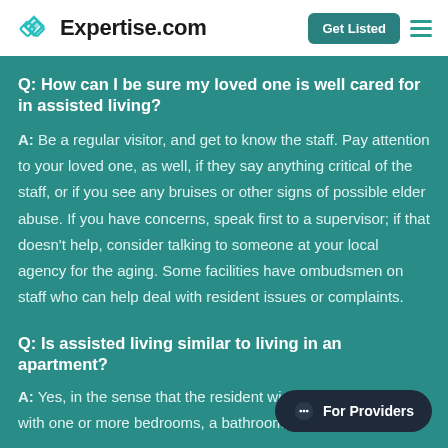Expertise.com | Get Listed
Q: How can I be sure my loved one is well cared for in assisted living?
A: Be a regular visitor, and get to know the staff. Pay attention to your loved one, as well, if they say anything critical of the staff, or if you see any bruises or other signs of possible elder abuse. If you have concerns, speak first to a supervisor; if that doesn't help, consider talking to someone at your local agency for the aging. Some facilities have ombudsmen on staff who can help deal with resident issues or complaints.
Q: Is assisted living similar to living in an apartment?
A: Yes, in the sense that the resident wi... with one or more bedrooms, a bathroom, and possibly a